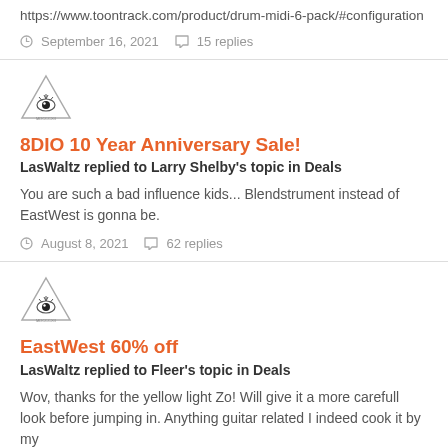https://www.toontrack.com/product/drum-midi-6-pack/#configuration
September 16, 2021   15 replies
[Figure (illustration): Triangle eye logo avatar]
8DIO 10 Year Anniversary Sale!
LasWaltz replied to Larry Shelby's topic in Deals
You are such a bad influence kids... Blendstrument instead of EastWest is gonna be.
August 8, 2021   62 replies
[Figure (illustration): Triangle eye logo avatar]
EastWest 60% off
LasWaltz replied to Fleer's topic in Deals
Wov, thanks for the yellow light Zo! Will give it a more carefull look before jumping in. Anything guitar related I indeed cook it by my